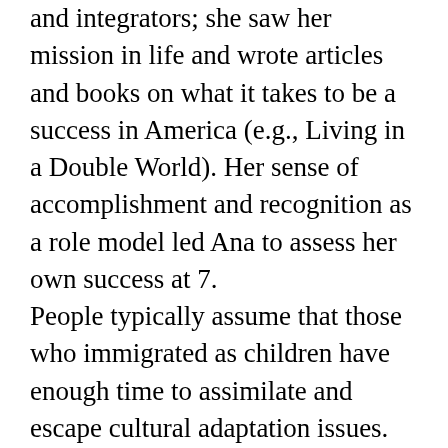and integrators; she saw her mission in life and wrote articles and books on what it takes to be a success in America (e.g., Living in a Double World). Her sense of accomplishment and recognition as a role model led Ana to assess her own success at 7. People typically assume that those who immigrated as children have enough time to assimilate and escape cultural adaptation issues. Not quite so. Mercedes Martin, a black Latina, grew up in a close-knit, Miami Cuban community steeped in tradition. Like other similar communities, it sometimes felt ghetto-like. She struggled to perfect her English and adapt to all-American culture, eventually becoming Diversity and Inclusion Director of Ernst & Young. In this position, she sees herself as a visionary who inspires others by harnessing her innate cultural values: charisma, “personalismo,” trust, and passion. Her family made tremendous sacrifices to give her a good education